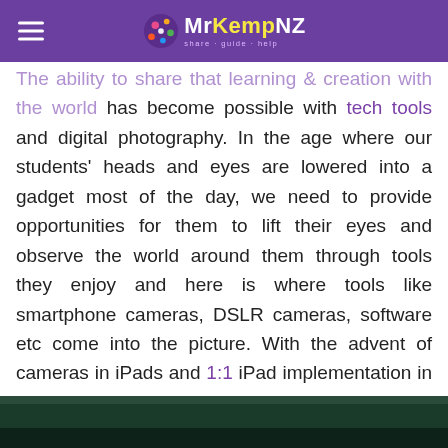MrKempNZ
The ability to share that learning & creation with the world has become possible with tech tools and digital photography. In the age where our students' heads and eyes are lowered into a gadget most of the day, we need to provide opportunities for them to lift their eyes and observe the world around them through tools they enjoy and here is where tools like smartphone cameras, DSLR cameras, software etc come into the picture. With the advent of cameras in iPads and 1:1 iPad implementation in many schools, it's much easier to get started with observing and capturing images that connect us with our learning.
[Figure (photo): Dark green/teal background image at the bottom of the page, partially visible]